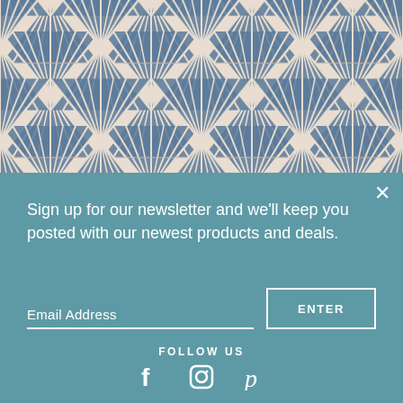[Figure (illustration): Art deco geometric fan/sunburst pattern in navy blue and cream/beige colors, repeating tile design]
Sign up for our newsletter and we'll keep you posted with our newest products and deals.
Email Address
ENTER
FOLLOW US
[Figure (illustration): Social media icons: Facebook (f), Instagram (camera), Pinterest (p)]